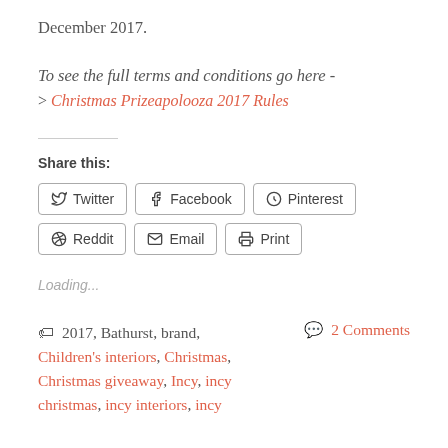December 2017.
To see the full terms and conditions go here -
> Christmas Prizeapolooza 2017 Rules
Share this:
Twitter Facebook Pinterest Reddit Email Print
Loading...
2017, Bathurst, brand, Children's interiors, Christmas, Christmas giveaway, Incy, incy christmas, incy interiors, incy
2 Comments